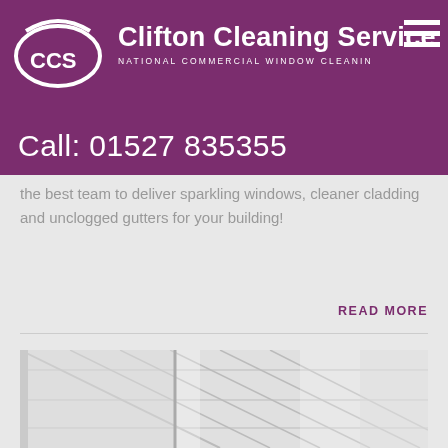[Figure (logo): CCS Clifton Cleaning Services logo with purple banner header showing company name and tagline NATIONAL COMMERCIAL WINDOW CLEANING]
Call: 01527 835355
the best team to deliver sparkling windows, cleaner cladding and unclogged gutters for your building!
READ MORE
[Figure (photo): Interior of a large commercial building with glass ceiling and steel structural framework, black and white/greyscale image]